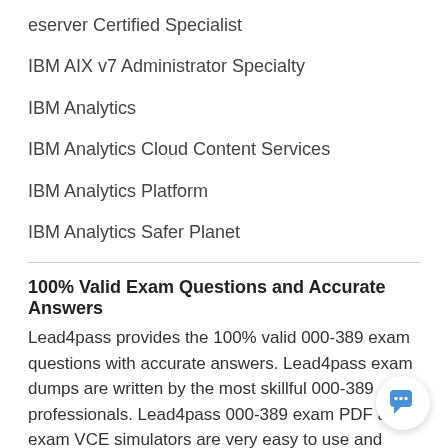eserver Certified Specialist
IBM AIX v7 Administrator Specialty
IBM Analytics
IBM Analytics Cloud Content Services
IBM Analytics Platform
IBM Analytics Safer Planet
100% Valid Exam Questions and Accurate Answers
Lead4pass provides the 100% valid 000-389 exam questions with accurate answers. Lead4pass exam dumps are written by the most skillful 000-389 professionals. Lead4pass 000-389 exam PDF and exam VCE simulators are very easy to use and install.